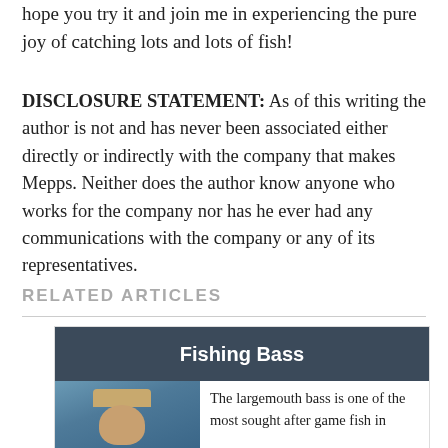hope you try it and join me in experiencing the pure joy of catching lots and lots of fish!
DISCLOSURE STATEMENT: As of this writing the author is not and has never been associated either directly or indirectly with the company that makes Mepps. Neither does the author know anyone who works for the company nor has he ever had any communications with the company or any of its representatives.
RELATED ARTICLES
[Figure (other): Related article card with dark blue header reading 'Fishing Bass' and a photo of a person fishing with text 'The largemouth bass is one of the most sought after game fish in']